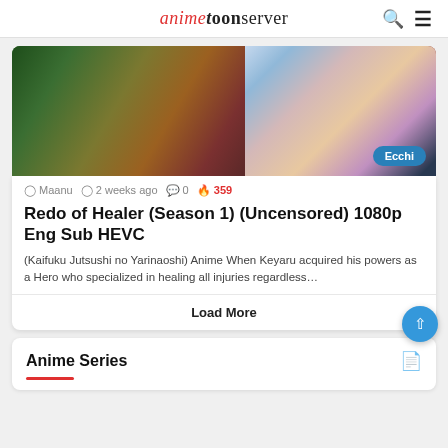animetoonserver
[Figure (illustration): Anime illustration showing two characters from Redo of Healer against a forest background. A blue badge reads 'Ecchi' in the bottom right.]
Maanu  2 weeks ago  0  359
Redo of Healer (Season 1) (Uncensored) 1080p Eng Sub HEVC
(Kaifuku Jutsushi no Yarinaoshi) Anime When Keyaru acquired his powers as a Hero who specialized in healing all injuries regardless…
Load More
Anime Series